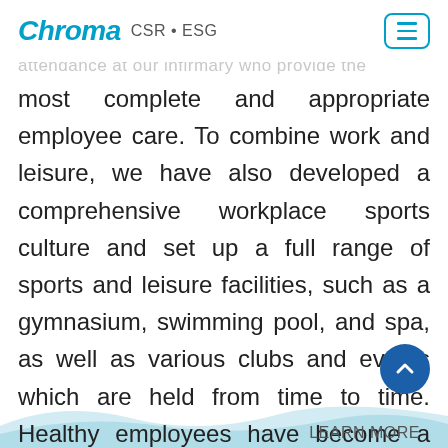Chroma CSR • ESG
attendance at our infirmary who provide the most complete and appropriate employee care. To combine work and leisure, we have also developed a comprehensive workplace sports culture and set up a full range of sports and leisure facilities, such as a gymnasium, swimming pool, and spa, as well as various clubs and events which are held from time to time. Healthy employees have become a vital driving force that moves Chroma forward!
LEARN MORE